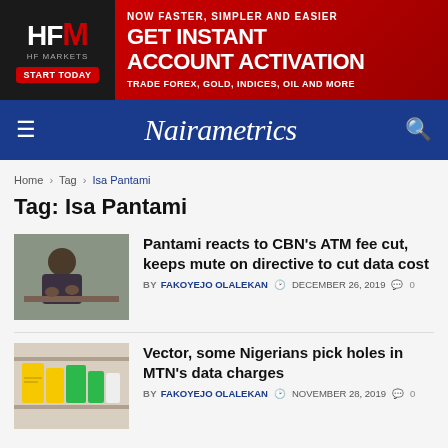[Figure (other): HFM HF Markets advertisement banner: GET INSTANT ACCOUNT ACTIVATION - NOW FASTER, SIMPLER AND EASIER - TRADE FOREX, GOLD, INDICES, OIL AND MORE]
Nairametrics
Home > Tag > Isa Pantami
Tag: Isa Pantami
[Figure (photo): Photo of a man in traditional attire sitting at a desk, gesturing with hands]
Pantami reacts to CBN's ATM fee cut, keeps mute on directive to cut data cost
BY FAKOYEJO OLALEKAN  DECEMBER 26, 2019  0
[Figure (photo): Photo of yellow and green packaged products, possibly SIM cards or data bundles]
Vector, some Nigerians pick holes in MTN's data charges
BY FAKOYEJO OLALEKAN  NOVEMBER 28, 2019  0